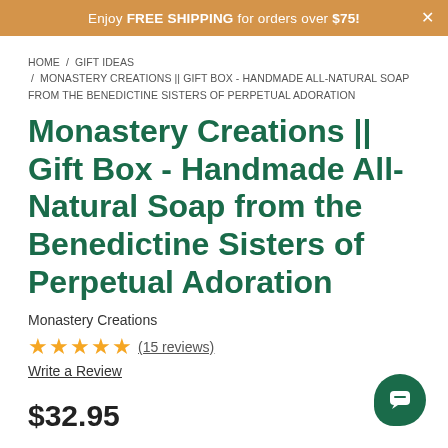Enjoy FREE SHIPPING for orders over $75!
HOME / GIFT IDEAS / MONASTERY CREATIONS || GIFT BOX - HANDMADE ALL-NATURAL SOAP FROM THE BENEDICTINE SISTERS OF PERPETUAL ADORATION
Monastery Creations || Gift Box - Handmade All-Natural Soap from the Benedictine Sisters of Perpetual Adoration
Monastery Creations
★★★★★ (15 reviews)
Write a Review
$32.95